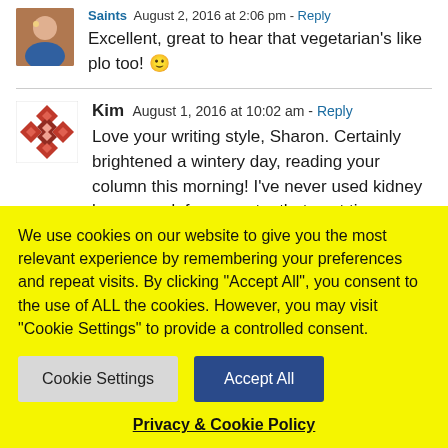Saints  August 2, 2016 at 2:06 pm - Reply
Excellent, great to hear that vegetarian's like plo too! 🙂
Kim  August 1, 2016 at 10:02 am - Reply
Love your writing style, Sharon. Certainly brightened a wintery day, reading your column this morning! I've never used kidney beans so defo gonna try that next time. Thanks for the tip.
We use cookies on our website to give you the most relevant experience by remembering your preferences and repeat visits. By clicking "Accept All", you consent to the use of ALL the cookies. However, you may visit "Cookie Settings" to provide a controlled consent.
Cookie Settings
Accept All
Privacy & Cookie Policy